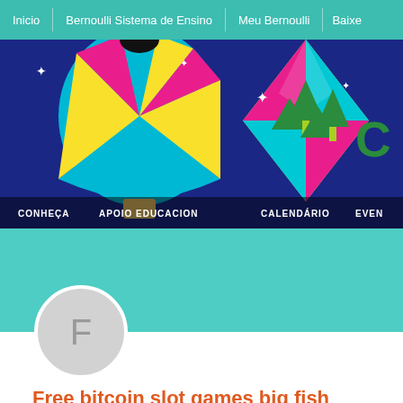Inicio  |  Bernoulli Sistema de Ensino  |  Meu Bernoulli  |  Baixe
[Figure (screenshot): Bernoulli educational website hero banner with colorful origami-style hot air balloons on dark blue background with stars. Navigation bar at bottom reads: CONHEÇA  APOIO EDUCACIONAL  CALENDÁRIO  EVEN...]
[Figure (illustration): Circular avatar placeholder with letter F on teal background]
Free bitcoin slot games big fish
0 Seguidores • 0 Seguindo